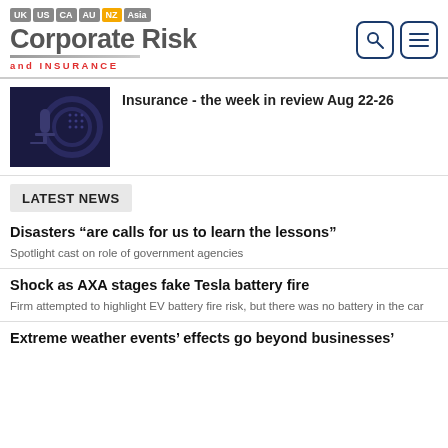Corporate Risk and INSURANCE — UK US CA AU NZ Asia
[Figure (illustration): Dark navy thumbnail image with microphone/podcast graphic for 'Insurance - the week in review Aug 22-26']
Insurance - the week in review Aug 22-26
LATEST NEWS
Disasters “are calls for us to learn the lessons”
Spotlight cast on role of government agencies
Shock as AXA stages fake Tesla battery fire
Firm attempted to highlight EV battery fire risk, but there was no battery in the car
Extreme weather events’ effects go beyond businesses’